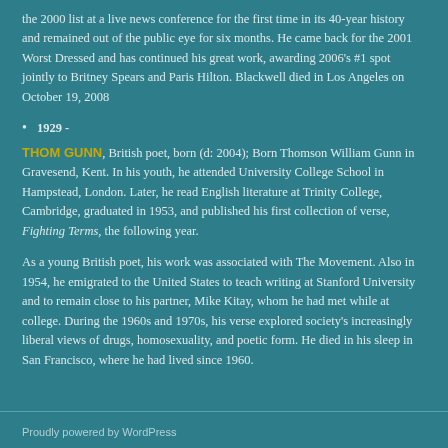the 2000 list at a live news conference for the first time in its 40-year history and remained out of the public eye for six months. He came back for the 2001 Worst Dressed and has continued his great work, awarding 2006's #1 spot jointly to Britney Spears and Paris Hilton. Blackwell died in Los Angeles on October 19, 2008
1929 -
THOM GUNN, British poet, born (d: 2004); Born Thomson William Gunn in Gravesend, Kent. In his youth, he attended University College School in Hampstead, London. Later, he read English literature at Trinity College, Cambridge, graduated in 1953, and published his first collection of verse, Fighting Terms, the following year.
As a young British poet, his work was associated with The Movement. Also in 1954, he emigrated to the United States to teach writing at Stanford University and to remain close to his partner, Mike Kitay, whom he had met while at college. During the 1960s and 1970s, his verse explored society's increasingly liberal views of drugs, homosexuality, and poetic form. He died in his sleep in San Francisco, where he had lived since 1960.
Proudly powered by WordPress